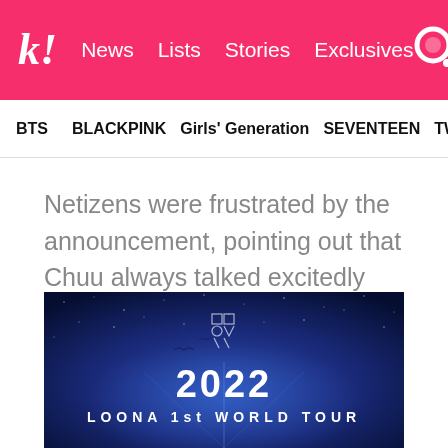k! News  Lists  Stories  Exclusives
BTS  BLACKPINK  Girls' Generation  SEVENTEEN  TWICE
Netizens were frustrated by the announcement, pointing out that Chuu always talked excitedly about meeting her fans, and it didn't seem fair that she wouldn't be able to perform with the rest of her group.
[Figure (photo): Dark blue promotional image for 2022 LOONA 1st WORLD TOUR with starry night background, birds silhouettes and glowing light effects. Shows LOONA logo symbol at top center, '2022' in large white text, and 'LOONA 1st WORLD TOUR' text at the bottom.]